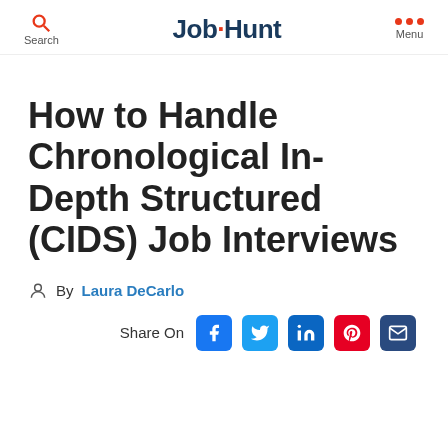Job·Hunt — Search / Menu navigation
How to Handle Chronological In-Depth Structured (CIDS) Job Interviews
By Laura DeCarlo
Share On